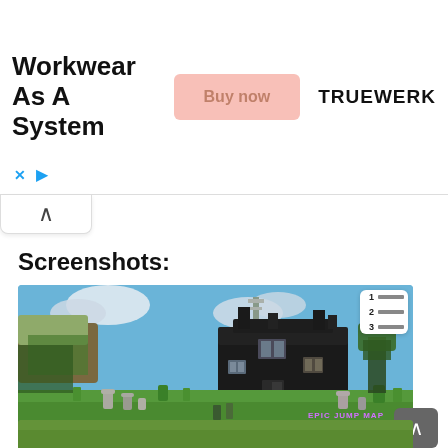[Figure (screenshot): Advertisement banner for Truewerk workwear with 'Workwear As A System' headline, a pink 'Buy now' button, and the TRUEWERK brand name. Includes X close and play ad icons below.]
Screenshots:
[Figure (screenshot): Screenshot from Minecraft showing a dark haunted house/mansion surrounded by grass, gravestones, and trees under a blue sky with floating clouds. A tower with an antenna is visible in the background. The image has a watermark reading 'EPIC JUMP MAP HALLOWEEN CANDY' in purple and orange text. A numbered list icon overlay appears in the top right corner.]
[Figure (screenshot): Partial second screenshot showing green Minecraft terrain at the very bottom of the page.]